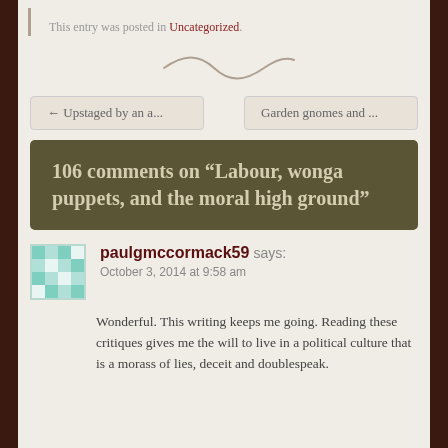This entry was posted in Uncategorized.
[Figure (illustration): Decorative tilde/swirl divider line]
← Upstaged by an a...
Garden gnomes and ...
106 comments on “Labour, wonga puppets, and the moral high ground”
[Figure (illustration): Avatar image for paulgmccormack59 - teal geometric pattern]
paulgmccormack59 says:
October 3, 2014 at 9:58 am
Wonderful. This writing keeps me going. Reading these critiques gives me the will to live in a political culture that is a morass of lies, deceit and doublespeak.